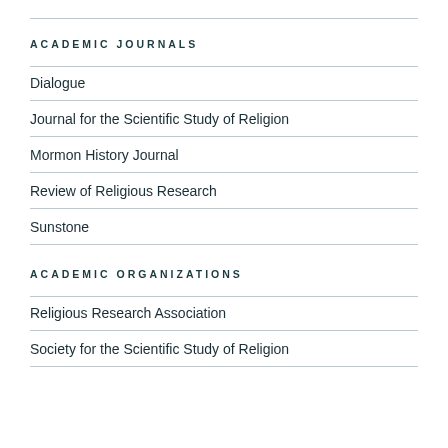ACADEMIC JOURNALS
Dialogue
Journal for the Scientific Study of Religion
Mormon History Journal
Review of Religious Research
Sunstone
ACADEMIC ORGANIZATIONS
Religious Research Association
Society for the Scientific Study of Religion